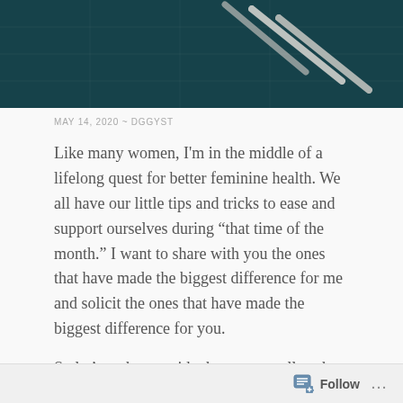[Figure (photo): Dark teal/green background with diagonal white cylindrical objects, top portion of a blog post header image]
MAY 14, 2020 ~ DGGYST
Like many women, I'm in the middle of a lifelong quest for better feminine health. We all have our little tips and tricks to ease and support ourselves during “that time of the month.” I want to share with you the ones that have made the biggest difference for me and solicit the ones that have made the biggest difference for you.
So let’s gather outside the cave to tell each other which berries we should rub on our boobs for an easier cycle and a better corn crop.
Follow …